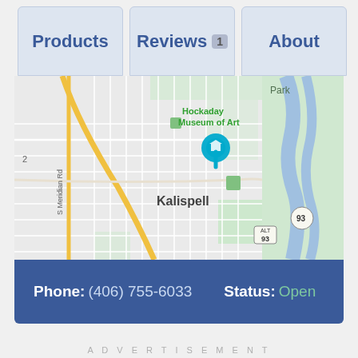Products | Reviews 1 | About
[Figure (map): Google Maps view showing Kalispell, Montana area with Hockaday Museum of Art marker, streets including S Meridian Rd, highway 93 (ALT 93), and green park areas to the east.]
Phone: (406) 755-6033    Status: Open
ADVERTISEMENT